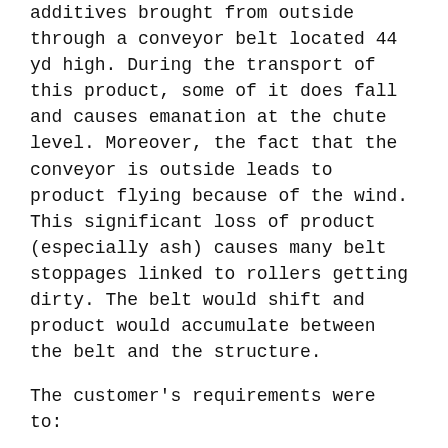additives brought from outside through a conveyor belt located 44 yd high. During the transport of this product, some of it does fall and causes emanation at the chute level. Moreover, the fact that the conveyor is outside leads to product flying because of the wind. This significant loss of product (especially ash) causes many belt stoppages linked to rollers getting dirty. The belt would shift and product would accumulate between the belt and the structure.
The customer's requirements were to:
Optimize productivity by stopping dust emissions
Avoid degradation of its equipment due to accumulation of product.
Eliminate the cleaning cost of the belt (1 to 2